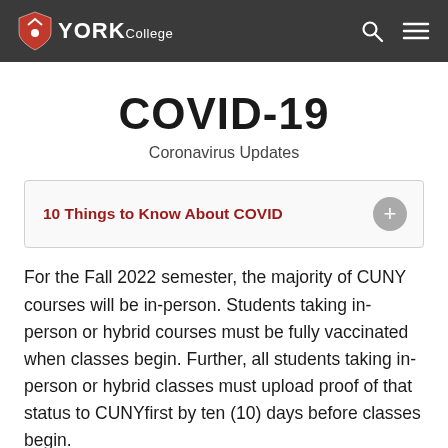York College — navigation bar with logo, search and menu icons
COVID-19
Coronavirus Updates
10 Things to Know About COVID
For the Fall 2022 semester, the majority of CUNY courses will be in-person. Students taking in-person or hybrid courses must be fully vaccinated when classes begin. Further, all students taking in-person or hybrid classes must upload proof of that status to CUNYfirst by ten (10) days before classes begin.